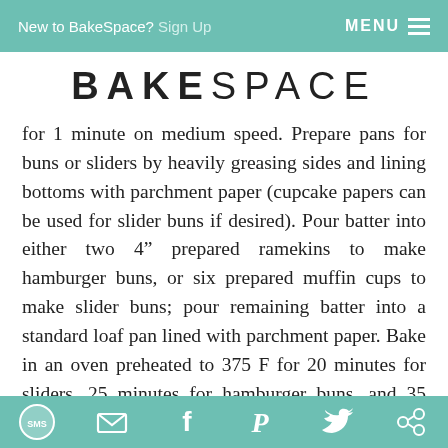New to BakeSpace? Sign Up   MENU
BAKESPACE
for 1 minute on medium speed. Prepare pans for buns or sliders by heavily greasing sides and lining bottoms with parchment paper (cupcake papers can be used for slider buns if desired). Pour batter into either two 4" prepared ramekins to make hamburger buns, or six prepared muffin cups to make slider buns; pour remaining batter into a standard loaf pan lined with parchment paper. Bake in an oven preheated to 375 F for 20 minutes for sliders, 25 minutes for hamburger buns, and 35 minutes for loaf pan. Cool in pan for 5 minutes, then remove to wire rack to cool completely before cutting. This bread contains no preservatives, so
SMS  Email  Facebook  Pinterest  Twitter  Share